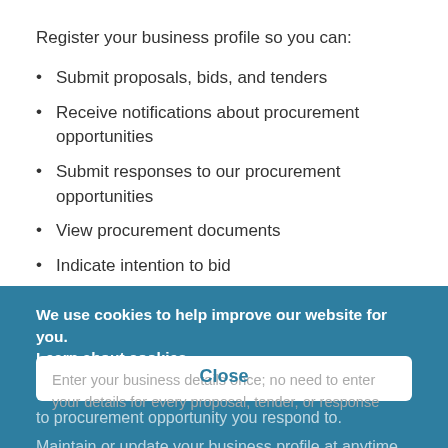Register your business profile so you can:
Submit proposals, bids, and tenders
Receive notifications about procurement opportunities
Submit responses to our procurement opportunities
View procurement documents
Indicate intention to bid
Answer questionnaires
We use cookies to help improve our website for you. Learn about cookies
Ask questions and receive answers from us
Enter your business details once; no need to enter your details for every proposal, tender, or response to procurement opportunity you respond to.
Maintain or update your business profile at anytime